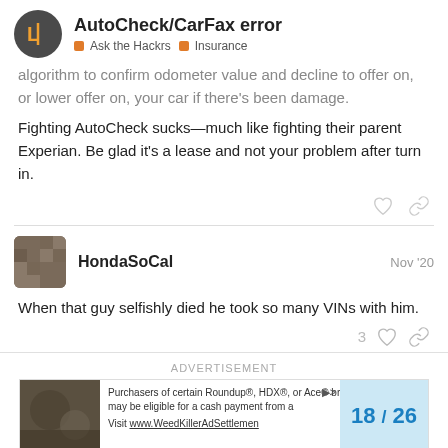AutoCheck/CarFax error — Ask the Hackrs | Insurance
algorithm to confirm odometer value and decline to offer on, or lower offer on, your car if there's been damage.
Fighting AutoCheck sucks—much like fighting their parent Experian. Be glad it's a lease and not your problem after turn in.
HondaSoCal Nov '20
[Figure (photo): User avatar thumbnail for HondaSoCal — dark woven/knit texture photo]
When that guy selfishly died he took so many VINs with him.
ADVERTISEMENT
[Figure (screenshot): Partial advertisement banner: Roundup/HDX/Ace weed killer class action. Shows '18 / 26' pagination in blue on light blue background.]